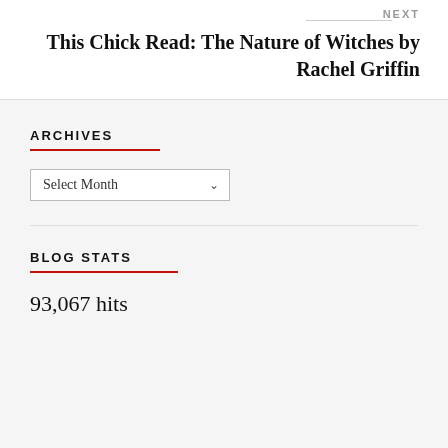NEXT
This Chick Read: The Nature of Witches by Rachel Griffin
ARCHIVES
Select Month
BLOG STATS
93,067 hits